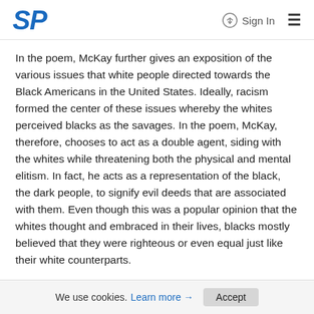SP  Sign In ☰
In the poem, McKay further gives an exposition of the various issues that white people directed towards the Black Americans in the United States. Ideally, racism formed the center of these issues whereby the whites perceived blacks as the savages. In the poem, McKay, therefore, chooses to act as a double agent, siding with the whites while threatening both the physical and mental elitism. In fact, he acts as a representation of the black, the dark people, to signify evil deeds that are associated with them. Even though this was a popular opinion that the whites thought and embraced in their lives, blacks mostly believed that they were righteous or even equal just like their white counterparts.
In another stanza, he continues to mention the harsh conditions that his black brothers were being subjected
We use cookies. Learn more → Accept